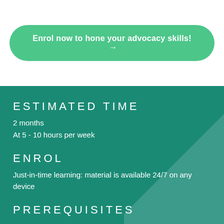[Figure (other): Green rounded button with text 'Enrol now to hone your advocacy skills! →']
ESTIMATED TIME
2 months
At 5 - 10 hours per week
ENROL
Just-in-time learning: material is available 24/7 on any device
PREREQUISITES